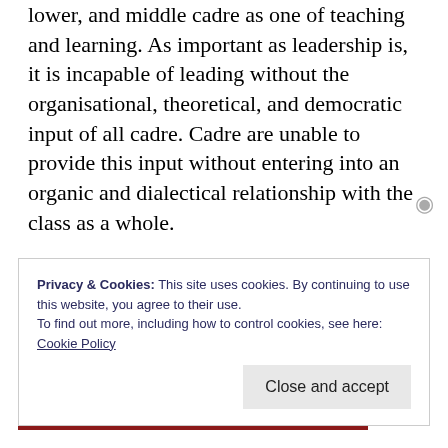lower, and middle cadre as one of teaching and learning. As important as leadership is, it is incapable of leading without the organisational, theoretical, and democratic input of all cadre. Cadre are unable to provide this input without entering into an organic and dialectical relationship with the class as a whole.

A party should seek to embody an organic social trend which tends
Privacy & Cookies: This site uses cookies. By continuing to use this website, you agree to their use.
To find out more, including how to control cookies, see here: Cookie Policy
Close and accept